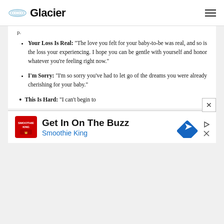Glacier
p.
Your Loss Is Real: “The love you felt for your baby-to-be was real, and so is the loss your experiencing. I hope you can be gentle with yourself and honor whatever you’re feeling right now.”
I’m Sorry: “I’m so sorry you’ve had to let go of the dreams you were already cherishing for your baby.”
This Is Hard: “I can’t begin to
[Figure (infographic): Advertisement banner: Smoothie King 'Get In On The Buzz' ad with logo, headline text, brand name in blue, and a blue diamond-shaped arrow icon. Controls include play and close (x) buttons.]